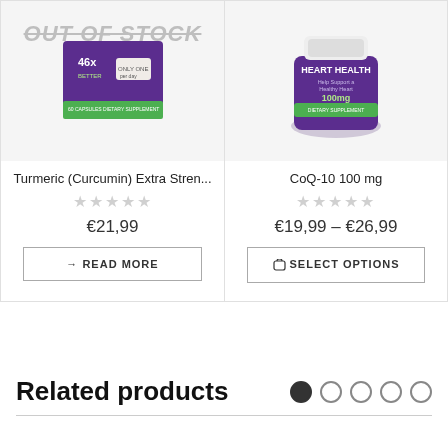[Figure (screenshot): Shopping cart icon with badge showing 0]
[Figure (screenshot): Hamburger menu button (dark square with three lines)]
[Figure (photo): Turmeric Curcumin Extra Strength supplement box, purple, 46x better, 60 capsules, dietary supplement]
OUT OF STOCK
Turmeric (Curcumin) Extra Stren...
★★★★★
€21,99
→ READ MORE
[Figure (photo): CoQ-10 100mg Heart Health supplement bottle, purple, 100mg, dietary supplement]
CoQ-10 100 mg
★★★★★
€19,99 – €26,99
🛒 SELECT OPTIONS
Related products